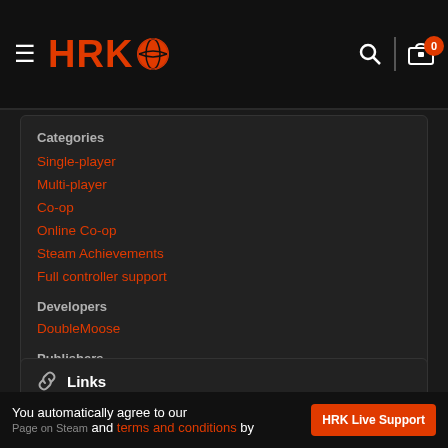HRK logo, search, cart (0)
Categories
Single-player
Multi-player
Co-op
Online Co-op
Steam Achievements
Full controller support
Developers
DoubleMoose
Publishers
Curve Digital
Links
You automatically agree to our and terms and conditions by Page on Steam